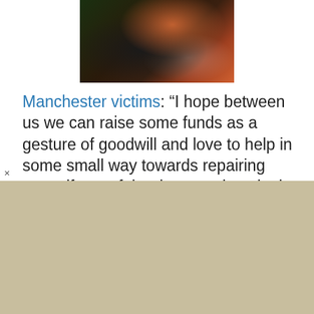[Figure (illustration): Partial view of a colorful illustration or painting showing a dark creature or figure, cropped at the top of the page.]
Manchester victims: “I hope between us we can raise some funds as a gesture of goodwill and love to help in some small way towards repairing some if any of the damage done in the wake of last nights events. There will be much to do and for many the beginning of a new life without those that they love and also a new life damaged irrevocably by the actions of a crime which…